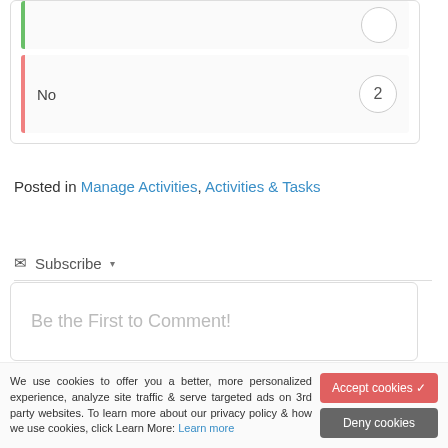| No | 2 |
Posted in Manage Activities, Activities & Tasks
Subscribe ▾
Be the First to Comment!
We use cookies to offer you a better, more personalized experience, analyze site traffic & serve targeted ads on 3rd party websites. To learn more about our privacy policy & how we use cookies, click Learn More: Learn more